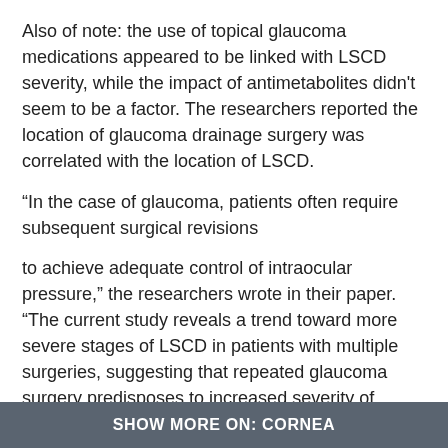Also of note: the use of topical glaucoma medications appeared to be linked with LSCD severity, while the impact of antimetabolites didn't seem to be a factor. The researchers reported the location of glaucoma drainage surgery was correlated with the location of LSCD.
“In the case of glaucoma, patients often require subsequent surgical revisions
to achieve adequate control of intraocular pressure,” the researchers wrote in their paper. “The current study reveals a trend toward more severe stages of LSCD in patients with multiple surgeries, suggesting that repeated glaucoma surgery predisposes to increased severity of LSCD, although a larger study is needed to confirm this observation.”
Measures to reduce injury to the limbus should be considered to reduce the risk of LSCD, the study noted.
View Footnotes
SHOW MORE ON: CORNEA